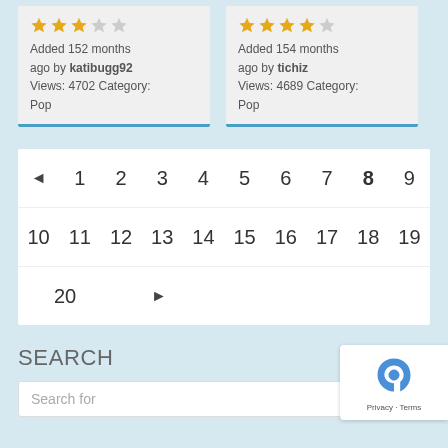Added 152 months ago by katibugg92
Views: 4702 Category: Pop
Added 154 months ago by tichiz
Views: 4689 Category: Pop
◄ 1 2 3 4 5 6 7 8 9
10 11 12 13 14 15 16 17 18 19
20 ►
SEARCH
Search for